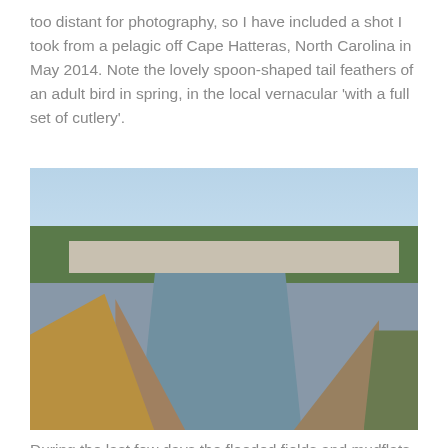too distant for photography, so I have included a shot I took from a pelagic off Cape Hatteras, North Carolina in May 2014. Note the lovely spoon-shaped tail feathers of an adult bird in spring, in the local vernacular 'with a full set of cutlery'.
[Figure (photo): A coastal wetland scene showing a tidal creek or channel winding through mudflats and reed marshes in the foreground, with a backdrop of green trees, shrubs and residential buildings under a clear blue sky. Birds visible on the water in the mid-ground.]
During the last few days the flooded fields and mudflats of